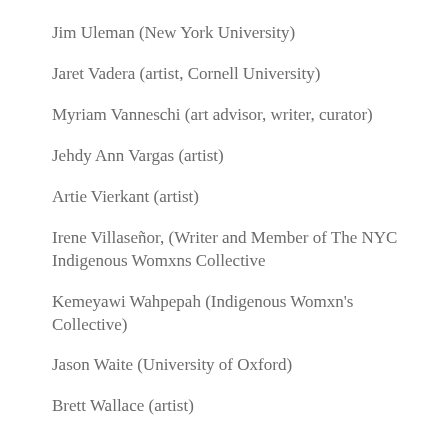Jim Uleman (New York University)
Jaret Vadera (artist, Cornell University)
Myriam Vanneschi (art advisor, writer, curator)
Jehdy Ann Vargas (artist)
Artie Vierkant (artist)
Irene Villaseñor, (Writer and Member of The NYC Indigenous Womxns Collective
Kemeyawi Wahpepah (Indigenous Womxn's Collective)
Jason Waite (University of Oxford)
Brett Wallace (artist)